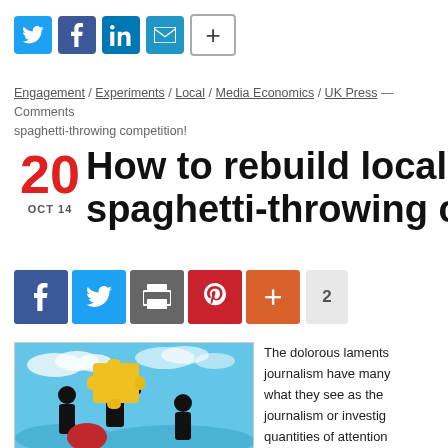[Figure (infographic): Social media share icons row: Twitter (blue bird), Facebook (blue f), LinkedIn (blue in), Email (blue envelope), Plus bordered button]
Engagement / Experiments / Local / Media Economics / UK Press — Comments spaghetti-throwing competition!
20 OCT 14  How to rebuild local news  spaghetti-throwing compo
[Figure (infographic): Share buttons row: Facebook (dark blue), Twitter (light blue), Print (dark grey), Pinterest (red), Plus (orange), count badge 2]
[Figure (illustration): Colorful illustration of silhouetted people holding a large yellow puzzle piece against a blue sky background]
The dolorous laments journalism have many what they see as the journalism or investig quantities of attention boosting the revival